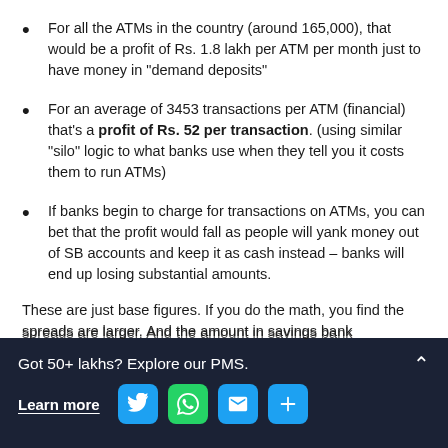For all the ATMs in the country (around 165,000), that would be a profit of Rs. 1.8 lakh per ATM per month just to have money in "demand deposits"
For an average of 3453 transactions per ATM (financial) that's a profit of Rs. 52 per transaction. (using similar "silo" logic to what banks use when they tell you it costs them to run ATMs)
If banks begin to charge for transactions on ATMs, you can bet that the profit would fall as people will yank money out of SB accounts and keep it as cash instead – banks will end up losing substantial amounts.
These are just base figures. If you do the math, you find the spreads are larger. And the amount in savings bank
Got 50+ lakhs? Explore our PMS. Learn more